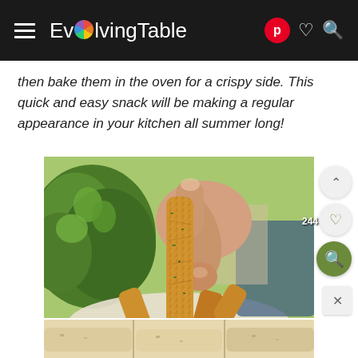EvolvingTable — navigation bar with hamburger menu, Pinterest icon, heart icon, search icon
then bake them in the oven for a crispy side. This quick and easy snack will be making a regular appearance in your kitchen all summer long!
[Figure (photo): Close-up of a hand holding a breaded zucchini fry coated in golden-brown panko crust with herbs, with more breaded pieces on a plate below and fresh parsley in the background]
[Figure (photo): Bottom portion showing additional breaded fries on a light surface]